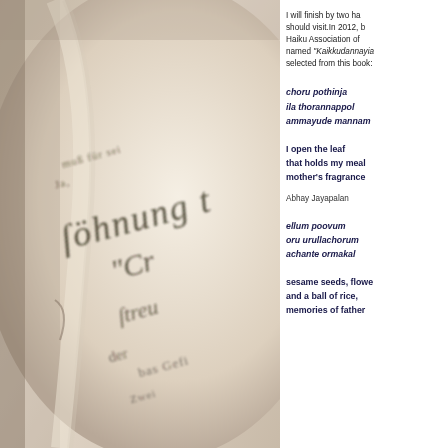[Figure (photo): Close-up of an old book page with Gothic/Fraktur German script text, yellowed parchment-like paper, sepia toned photograph]
I will finish by two ha should visit.In 2012, b Haiku Association of named "Kaikkudannayia selected from this book:
choru pothinja
ila thorannappol
ammayude mannam
I open the leaf
that holds my meal
mother's fragrance
Abhay Jayapalan
ellum poovum
oru urullachorum
achante ormakal
sesame seeds, flowe and a ball of rice, memories of father